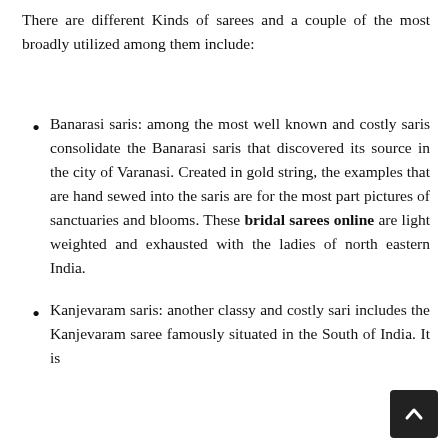There are different Kinds of sarees and a couple of the most broadly utilized among them include:
Banarasi saris: among the most well known and costly saris consolidate the Banarasi saris that discovered its source in the city of Varanasi. Created in gold string, the examples that are hand sewed into the saris are for the most part pictures of sanctuaries and blooms. These bridal sarees online are light weighted and exhausted with the ladies of north eastern India.
Kanjevaram saris: another classy and costly sari includes the Kanjevaram saree famously situated in the South of India. It is